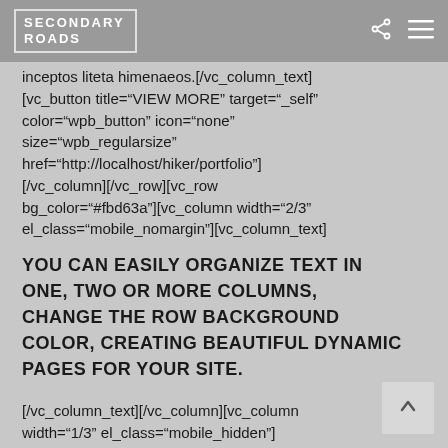SECONDARY ROADS
inceptos liteta himenaeos.[/vc_column_text]
[vc_button title="VIEW MORE" target="_self"
color="wpb_button" icon="none"
size="wpb_regularsize"
href="http://localhost/hiker/portfolio"]
[/vc_column][/vc_row][vc_row
bg_color="#fbd63a"][vc_column width="2/3"
el_class="mobile_nomargin"][vc_column_text]
YOU CAN EASILY ORGANIZE TEXT IN ONE, TWO OR MORE COLUMNS, CHANGE THE ROW BACKGROUND COLOR, CREATING BEAUTIFUL DYNAMIC PAGES FOR YOUR SITE.
[/vc_column_text][/vc_column][vc_column
width="1/3" el_class="mobile_hidden"]
[vc_single_image …